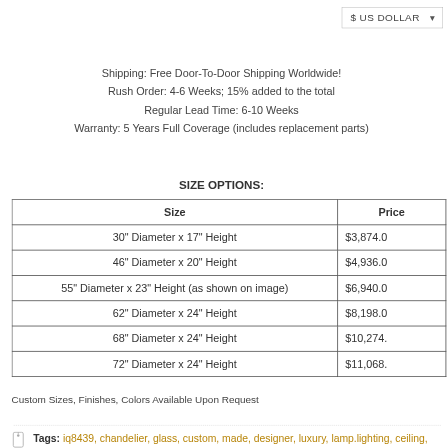$ US DOLLAR
Shipping: Free Door-To-Door Shipping Worldwide!
Rush Order: 4-6 Weeks; 15% added to the total
Regular Lead Time: 6-10 Weeks
Warranty: 5 Years Full Coverage (includes replacement parts)
SIZE OPTIONS:
| Size | Price |
| --- | --- |
| 30" Diameter x 17" Height | $3,874.0 |
| 46" Diameter x 20" Height | $4,936.0 |
| 55" Diameter x 23" Height (as shown on image) | $6,940.0 |
| 62" Diameter x 24" Height | $8,198.0 |
| 68" Diameter x 24" Height | $10,274. |
| 72" Diameter x 24" Height | $11,068. |
Custom Sizes, Finishes, Colors Available Upon Request
Tags: iq8439, chandelier, glass, custom, made, designer, luxury, lamp.lighting, ceiling, prestige, residential, pendant, light, crystal, designers, hotel, project, beautifull, room, home, decor, interior, design